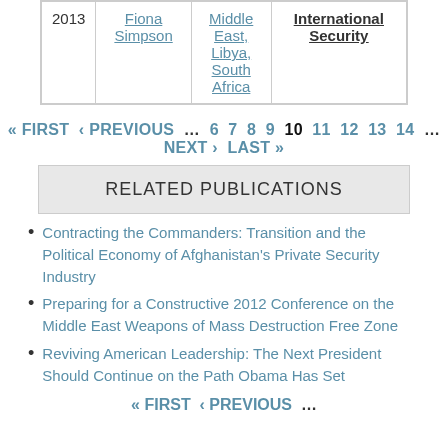| Year | Author | Region | Publication |
| --- | --- | --- | --- |
| 2013 | Fiona Simpson | Middle East, Libya, South Africa | International Security |
« FIRST ‹ PREVIOUS … 6 7 8 9 10 11 12 13 14 … NEXT › LAST »
RELATED PUBLICATIONS
Contracting the Commanders: Transition and the Political Economy of Afghanistan's Private Security Industry
Preparing for a Constructive 2012 Conference on the Middle East Weapons of Mass Destruction Free Zone
Reviving American Leadership: The Next President Should Continue on the Path Obama Has Set
« FIRST ‹ PREVIOUS …